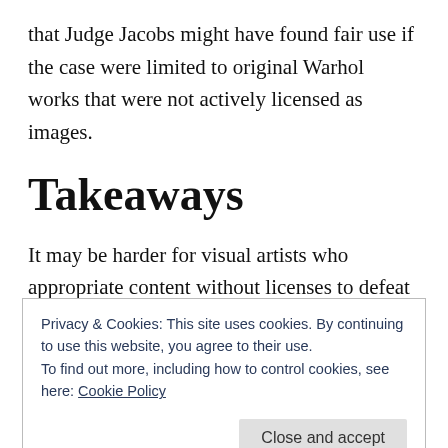that Judge Jacobs might have found fair use if the case were limited to original Warhol works that were not actively licensed as images.
Takeaways
It may be harder for visual artists who appropriate content without licenses to defeat infringement claims with fair use defenses in the Second Circuit. Obtaining a license or only borrowing works in the public domain are safer courses of action. Artists
Privacy & Cookies: This site uses cookies. By continuing to use this website, you agree to their use.
To find out more, including how to control cookies, see here: Cookie Policy
elements from the borrowed work in the new work.